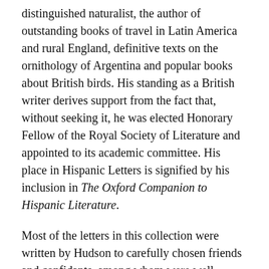distinguished naturalist, the author of outstanding books of travel in Latin America and rural England, definitive texts on the ornithology of Argentina and popular books about British birds. His standing as a British writer derives support from the fact that, without seeking it, he was elected Honorary Fellow of the Royal Society of Literature and appointed to its academic committee. His place in Hispanic Letters is signified by his inclusion in The Oxford Companion to Hispanic Literature.
Most of the letters in this collection were written by Hudson to carefully chosen friends and confidants, among whom were well-known authors, poets, artists, naturalists, conservationists and the indomitable Ranee Margaret of Sarawak, consort of the second white Rajah, Sir